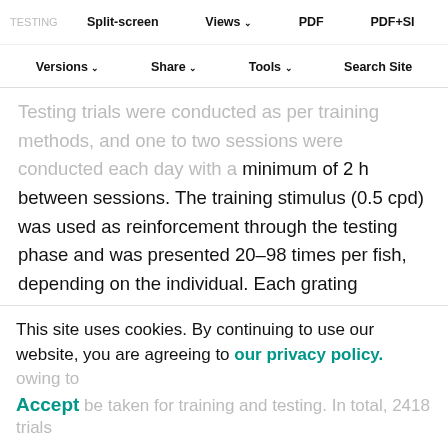TESTING | Split-screen | Views | PDF | PDF+SI | Versions | Share | Tools | Search Site
Testing trials were conducted as per training methods, and one to two sessions were conducted each day with a minimum of 2 h between sessions. The training stimulus (0.5 cpd) was used as reinforcement through the testing phase and was presented 20–98 times per fish, depending on the individual. Each grating between 1.0 and 3.0 cpd was presented to each fish 7–20 times for black–white achromatic stimuli and 9–30 times for chromatic stimuli. Once fish had completed testing with their first treatment stimuli (black–white, green–yellow or pink–purple), they were randomly assigned to one of the other two treatment sets, and so on for the above. Care was taken to allow a rest period of at least one day following to allow the data to be taken for training and testing. In total, 2418 trials
This site uses cookies. By continuing to use our website, you are agreeing to our privacy policy.
Accept be taken for training and testing. In total, 2418 trials